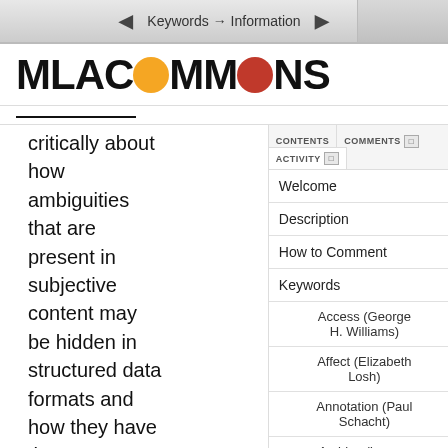Keywords → Information
[Figure (logo): MLA Commons logo with orange and red speech bubble circles replacing the letter O]
critically about how ambiguities that are present in subjective content may be hidden in structured data formats and how they have the agency to change those structures to
CONTENTS
COMMENTS
ACTIVITY
Welcome
Description
How to Comment
Keywords
Access (George H. Williams)
Affect (Elizabeth Losh)
Annotation (Paul Schacht)
Archive (Lauren